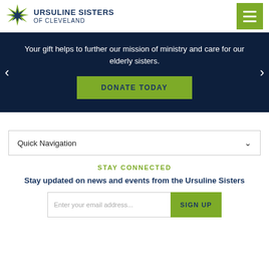Ursuline Sisters of Cleveland
Your gift helps to further our mission of ministry and care for our elderly sisters.
DONATE TODAY
Quick Navigation
STAY CONNECTED
Stay updated on news and events from the Ursuline Sisters
Enter your email address... SIGN UP